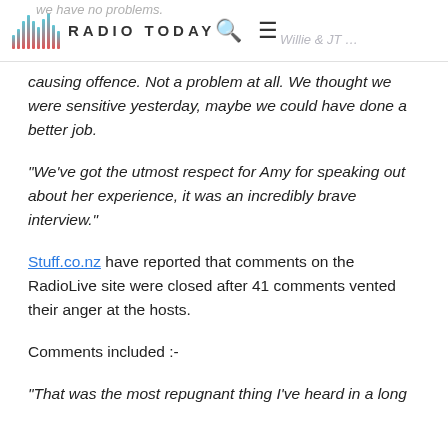RADIO TODAY
causing offence. Not a problem at all. We thought we were sensitive yesterday, maybe we could have done a better job.
"We've got the utmost respect for Amy for speaking out about her experience, it was an incredibly brave interview."
Stuff.co.nz have reported that comments on the RadioLive site were closed after 41 comments vented their anger at the hosts.
Comments included :-
"That was the most repugnant thing I've heard in a long